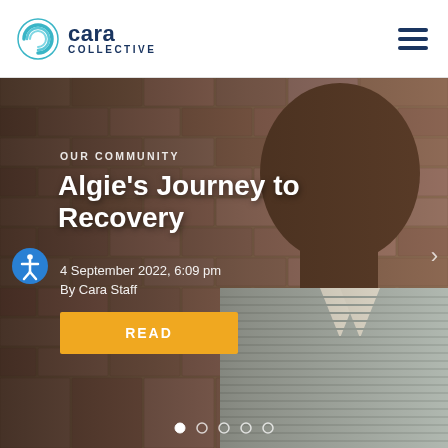Cara Collective
[Figure (photo): Hero banner showing a smiling Black man wearing a grey striped polo shirt, standing in front of a brick wall. The image is used as a background for the featured article about Algie's Journey to Recovery.]
OUR COMMUNITY
Algie’s Journey to Recovery
4 September 2022, 6:09 pm
By Cara Staff
READ